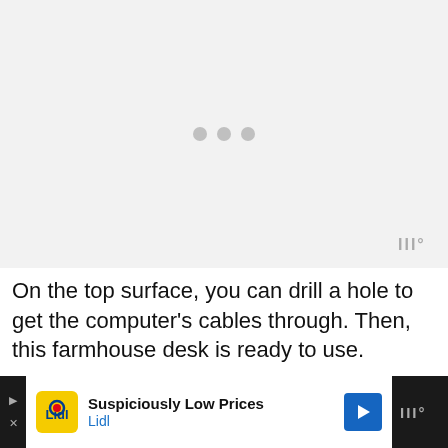[Figure (other): Loading placeholder image area with three gray dots centered, indicating image content not yet loaded. Small watermark logo in bottom right corner.]
On the top surface, you can drill a hole to get the computer’s cables through. Then, this farmhouse desk is ready to use.
[Figure (other): Advertisement banner for Lidl: 'Suspiciously Low Prices' with Lidl logo and blue navigation arrow icon on dark background.]